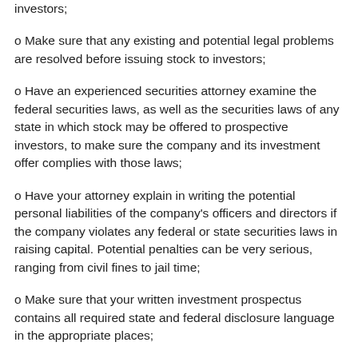investors;
o Make sure that any existing and potential legal problems are resolved before issuing stock to investors;
o Have an experienced securities attorney examine the federal securities laws, as well as the securities laws of any state in which stock may be offered to prospective investors, to make sure the company and its investment offer complies with those laws;
o Have your attorney explain in writing the potential personal liabilities of the company's officers and directors if the company violates any federal or state securities laws in raising capital. Potential penalties can be very serious, ranging from civil fines to jail time;
o Make sure that your written investment prospectus contains all required state and federal disclosure language in the appropriate places;
o Your attorney should review the business plan and